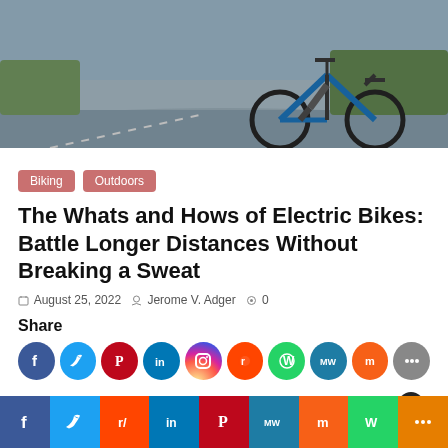[Figure (photo): Cyclist on a road bike, shot from behind/side, riding on a curved road with green landscape in background.]
Biking   Outdoors
The Whats and Hows of Electric Bikes: Battle Longer Distances Without Breaking a Sweat
August 25, 2022   Jerome V. Adger   0
Share
[Figure (infographic): Social share icons: Facebook, Twitter, Pinterest, LinkedIn, Instagram, Reddit, WhatsApp, MeWe, Mix, More]
Sha… and…
[Figure (infographic): Bottom social share bar: Facebook, Twitter, Reddit, LinkedIn, Pinterest, MeWe, Mix, WhatsApp, More]